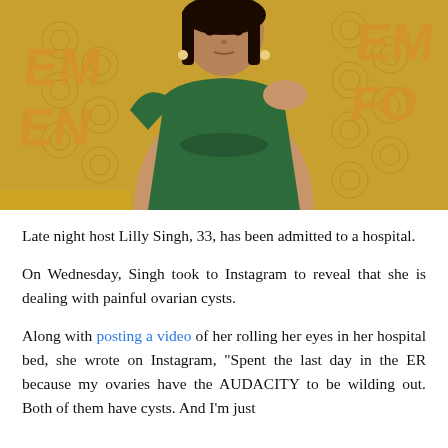[Figure (photo): Lilly Singh in a green one-shoulder dress at the Emmy Awards, posing on a gold-decorated red carpet backdrop with circle patterns and Emmy lettering.]
Late night host Lilly Singh, 33, has been admitted to a hospital.
On Wednesday, Singh took to Instagram to reveal that she is dealing with painful ovarian cysts.
Along with posting a video of her rolling her eyes in her hospital bed, she wrote on Instagram, "Spent the last day in the ER because my ovaries have the AUDACITY to be wilding out. Both of them have cysts. And I'm just